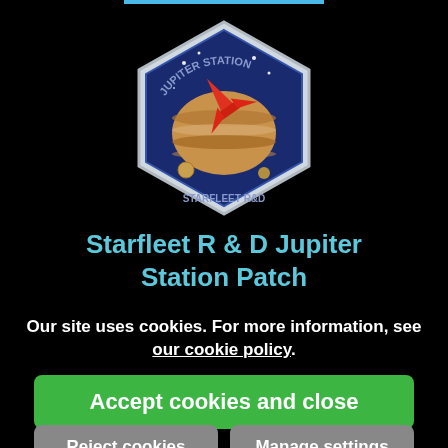[Figure (illustration): Starfleet R&D Jupiter Station mission patch badge — hexagonal/shield shape with blue background, planet Jupiter with orange/brown bands, red spacecraft/shuttle flying past, stars, text reading JUPITER STATION around top arc and STARFLEET R&D along bottom]
Starfleet R & D Jupiter Station Patch
Our site uses cookies. For more information, see our cookie policy.
Accept cookies and close
Reject cookies
Manage settings